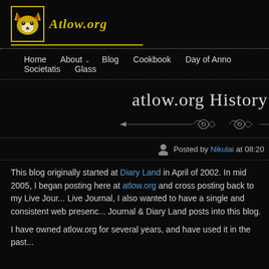[Figure (logo): Atlow.org website logo with fox icon in yellow border and italic yellow text 'Atlow.org']
Home   About   Blog   Cookbook   Day of Anno Societatis   Glass
atlow.org History
[Figure (illustration): Decorative ornamental divider with scrollwork]
Posted by Nikulai at 08:20
This blog originally started at Diary Land in April of 2002. In mid 2005, I began posting here at atlow.org and cross posting back to my Live Journal. Live Journal, I also wanted to have a single and consistent web presence. Journal & Diary Land posts into this blog.
I have owned atlow.org for several years, and have used it in the past...